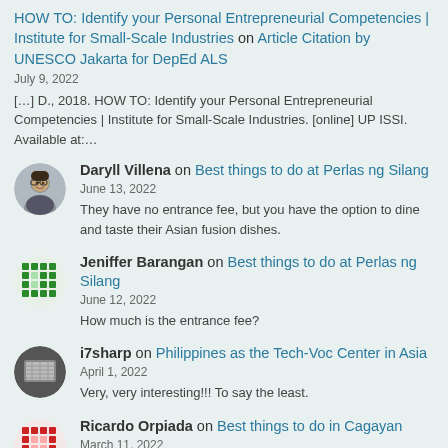HOW TO: Identify your Personal Entrepreneurial Competencies | Institute for Small-Scale Industries on Article Citation by UNESCO Jakarta for DepEd ALS
July 9, 2022
[…] D., 2018. HOW TO: Identify your Personal Entrepreneurial Competencies | Institute for Small-Scale Industries. [online] UP ISSI. Available at:…
Daryll Villena on Best things to do at Perlas ng Silang
June 13, 2022
They have no entrance fee, but you have the option to dine and taste their Asian fusion dishes.
Jeniffer Barangan on Best things to do at Perlas ng Silang
June 12, 2022
How much is the entrance fee?
i7sharp on Philippines as the Tech-Voc Center in Asia
April 1, 2022
Very, very interesting!!! To say the least.
Ricardo Orpiada on Best things to do in Cagayan
March 11, 2022